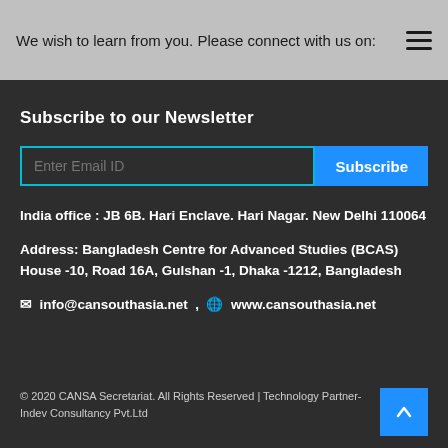We wish to learn from you. Please connect with us on:
Subscribe to our Newsletter
Enter Email ID  Subscribe
India office : JB 6B. Hari Enclave. Hari Nagar. New Delhi 110064
Address: Bangladesh Centre for Advanced Studies (BCAS) House -10, Road 16A, Gulshan -1, Dhaka -1212, Bangladesh
✉ info@cansouthasia.net , 🌐 www.cansouthasia.net
© 2020 CANSA Secretariat. All Rights Reserved | Technology Partner-Indev Consultancy Pvt.Ltd